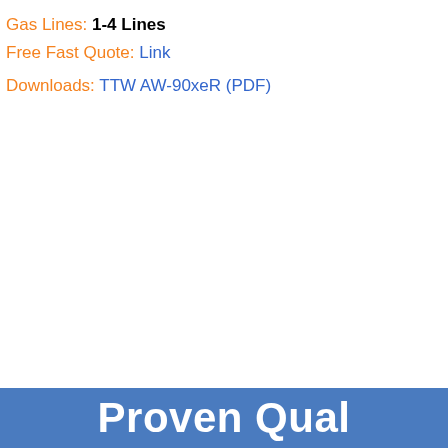Gas Lines: 1-4 Lines
Free Fast Quote: Link
Downloads: TTW AW-90xeR (PDF)
Proven Qual